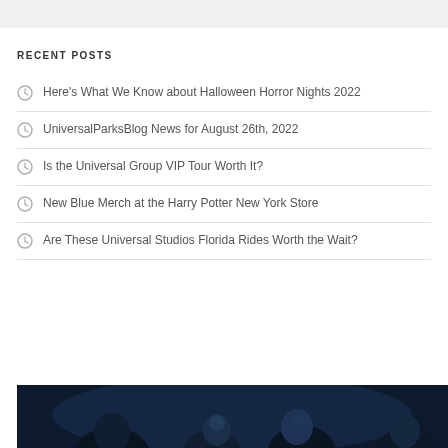RECENT POSTS
Here's What We Know about Halloween Horror Nights 2022
UniversalParksBlog News for August 26th, 2022
Is the Universal Group VIP Tour Worth It?
New Blue Merch at the Harry Potter New York Store
Are These Universal Studios Florida Rides Worth the Wait?
[Figure (photo): Dark moody photo of people at what appears to be Halloween Horror Nights, figures visible in blue-tinted lighting]